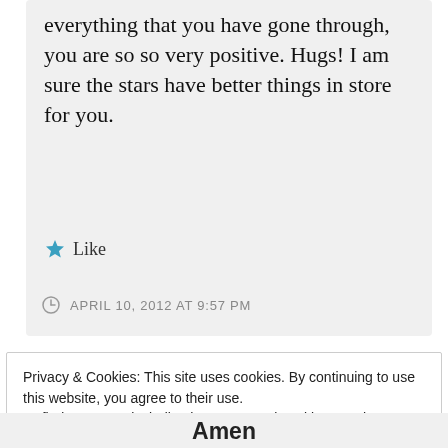everything that you have gone through, you are so so very positive. Hugs! I am sure the stars have better things in store for you.
★ Like
APRIL 10, 2012 AT 9:57 PM
Privacy & Cookies: This site uses cookies. By continuing to use this website, you agree to their use.
To find out more, including how to control cookies, see here: Cookie Policy
Close and accept
Amen